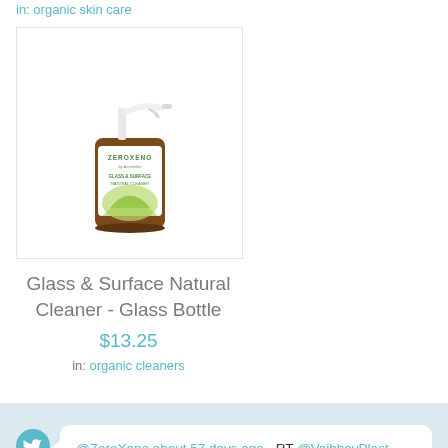in: organic skin care
[Figure (photo): ZeroXeno Glass & Surface Natural Cleaner spray bottle with white pump and green leaf design on label]
Glass & Surface Natural Cleaner - Glass Bottle
$13.25
in: organic cleaners
@ZeroXeno about 57 days ago - RT @VaibhavPlast Happy to share our work on the effect of #weathering on the #adsorption of organic #pollutants onto #microplastics... https://t.co/NuxedzTWm3